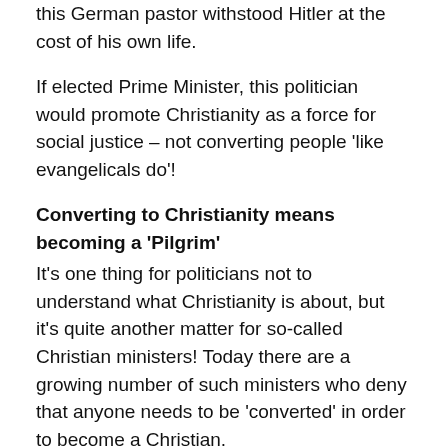this German pastor withstood Hitler at the cost of his own life.
If elected Prime Minister, this politician would promote Christianity as a force for social justice – not converting people 'like evangelicals do'!
Converting to Christianity means becoming a 'Pilgrim'
It's one thing for politicians not to understand what Christianity is about, but it's quite another matter for so-called Christian ministers! Today there are a growing number of such ministers who deny that anyone needs to be 'converted' in order to become a Christian.
For those of us who do know what a Christian is and care about how Christianity is understood, we are faced with the challenge of not only defending it – but getting on with it!